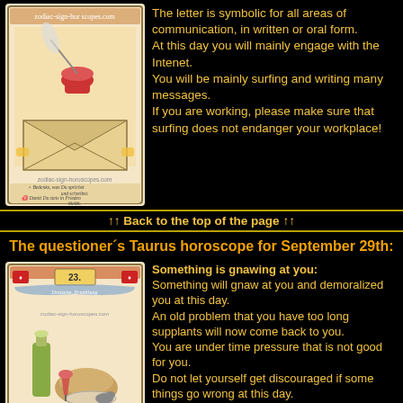[Figure (illustration): Tarot/horoscope card with inkwell, envelope, quill pen illustration and German text at bottom, from zodiac-sign-horoscopes.com]
The letter is symbolic for all areas of communication, in written or oral form. At this day you will mainly engage with the Intenet. You will be mainly surfing and writing many messages. If you are working, please make sure that surfing does not endanger your workplace!
↑↑ Back to the top of the page ↑↑
The questioner´s Taurus horoscope for September 29th:
[Figure (illustration): Horoscope card number 23 with bottle, food, and decorative banner reading 'Dreizehn, Ermittlung', from zodiac-sign-horoscopes.com]
Something is gnawing at you: Something will gnaw at you and demoralized you at this day. An old problem that you have too long supplants will now come back to you. You are under time pressure that is not good for you. Do not let yourself get discouraged if some things go wrong at this day. You will also suffer a loss at this day.